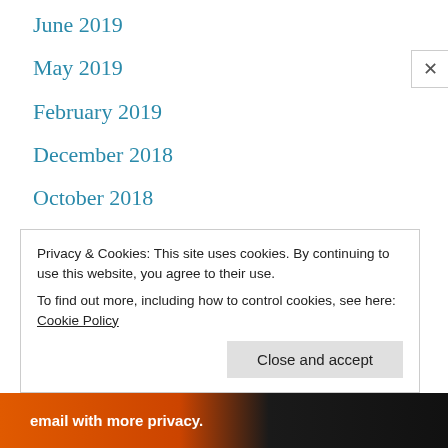June 2019
May 2019
February 2019
December 2018
October 2018
September 2018
May 2018
February 2018
November 2017
Privacy & Cookies: This site uses cookies. By continuing to use this website, you agree to their use.
To find out more, including how to control cookies, see here: Cookie Policy
Close and accept
[Figure (other): Advertisement banner: email with more privacy, with DuckDuckGo branding]